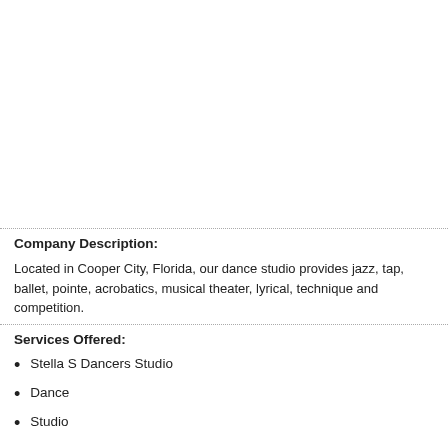Company Description:
Located in Cooper City, Florida, our dance studio provides jazz, tap, ballet, pointe, acrobatics, musical theater, lyrical, technique and competition.
Services Offered:
Stella S Dancers Studio
Dance
Studio